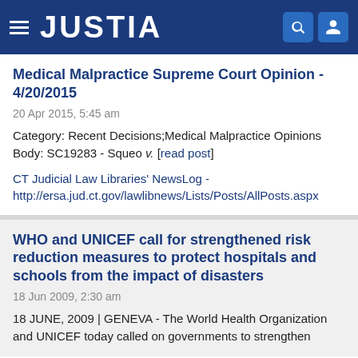JUSTIA
Medical Malpractice Supreme Court Opinion - 4/20/2015
20 Apr 2015, 5:45 am
Category: Recent Decisions;Medical Malpractice Opinions Body: SC19283 - Squeo v. [read post]
CT Judicial Law Libraries' NewsLog - http://ersa.jud.ct.gov/lawlibnews/Lists/Posts/AllPosts.aspx
WHO and UNICEF call for strengthened risk reduction measures to protect hospitals and schools from the impact of disasters
18 Jun 2009, 2:30 am
18 JUNE, 2009 | GENEVA - The World Health Organization and UNICEF today called on governments to strengthen